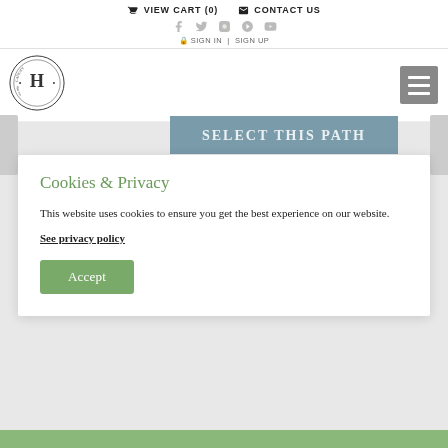VIEW CART (0)   CONTACT US
[Figure (logo): Herbal Academy International School circular stamp logo with letter H in center, Established 2011]
[Figure (other): Hamburger menu icon (three horizontal lines) in grey square]
[Figure (other): SELECT THIS PATH button in blue-grey color]
Cookies & Privacy
This website uses cookies to ensure you get the best experience on our website.
See privacy policy
Accept